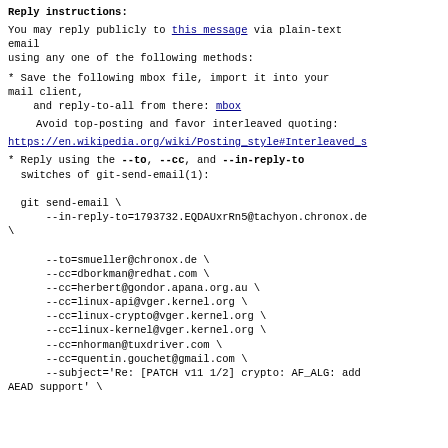Reply instructions:
You may reply publicly to this message via plain-text email
using any one of the following methods:
* Save the following mbox file, import it into your mail client,
    and reply-to-all from there: mbox

    Avoid top-posting and favor interleaved quoting:
https://en.wikipedia.org/wiki/Posting_style#Interleaved_s
* Reply using the --to, --cc, and --in-reply-to switches of git-send-email(1):

  git send-email \
      --in-reply-to=1793732.EQDAUxrRn5@tachyon.chronox.de \

      --to=smueller@chronox.de \
      --cc=dborkman@redhat.com \
      --cc=herbert@gondor.apana.org.au \
      --cc=linux-api@vger.kernel.org \
      --cc=linux-crypto@vger.kernel.org \
      --cc=linux-kernel@vger.kernel.org \
      --cc=nhorman@tuxdriver.com \
      --cc=quentin.gouchet@gmail.com \
      --subject='Re: [PATCH v11 1/2] crypto: AF_ALG: add AEAD support' \